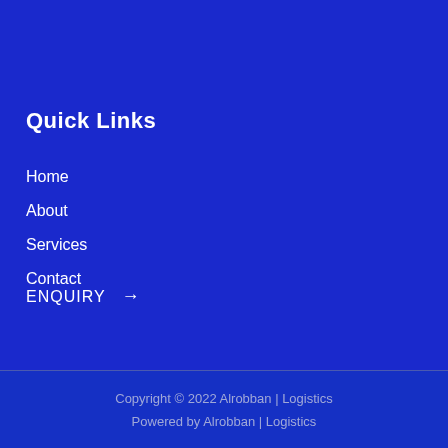Quick Links
Home
About
Services
Contact
ENQUIRY →
Copyright © 2022 Alrobban | Logistics
Powered by Alrobban | Logistics